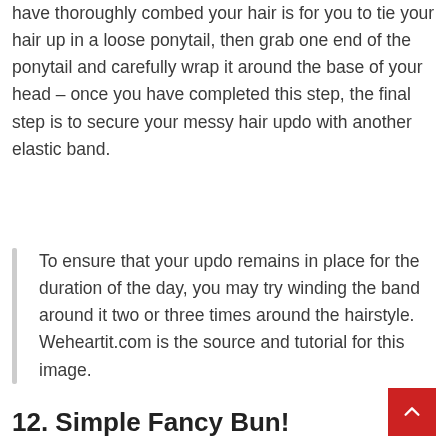have thoroughly combed your hair is for you to tie your hair up in a loose ponytail, then grab one end of the ponytail and carefully wrap it around the base of your head – once you have completed this step, the final step is to secure your messy hair updo with another elastic band.
To ensure that your updo remains in place for the duration of the day, you may try winding the band around it two or three times around the hairstyle. Weheartit.com is the source and tutorial for this image.
12. Simple Fancy Bun!